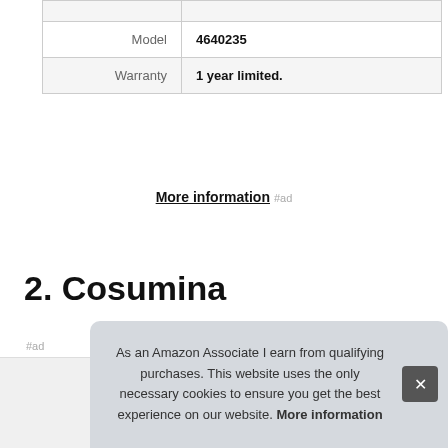|  |  |
| --- | --- |
| Model | 4640235 |
| Warranty | 1 year limited. |
More information #ad
2. Cosumina
#ad
As an Amazon Associate I earn from qualifying purchases. This website uses the only necessary cookies to ensure you get the best experience on our website. More information